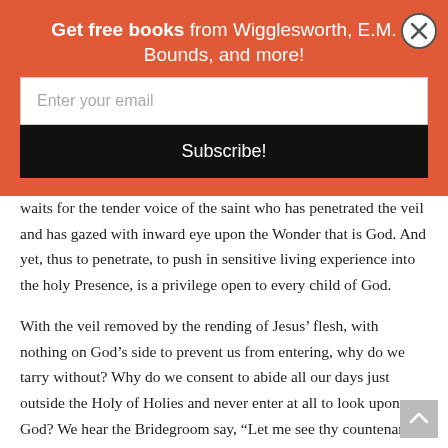Get free books from Wigglesworth, E.M. Bounds, and more!
Enter your email
Subscribe!
waits for the tender voice of the saint who has penetrated the veil and has gazed with inward eye upon the Wonder that is God. And yet, thus to penetrate, to push in sensitive living experience into the holy Presence, is a privilege open to every child of God.
With the veil removed by the rending of Jesus' flesh, with nothing on God's side to prevent us from entering, why do we tarry without? Why do we consent to abide all our days just outside the Holy of Holies and never enter at all to look upon God? We hear the Bridegroom say, “Let me see thy countenance, let me hear thy voice; for sweet is thy voice and thy countenance is comely.” We sense that the call is for us,